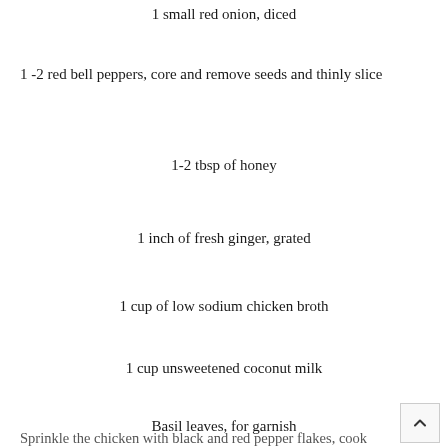1 small red onion, diced
1 -2 red bell peppers, core and remove seeds and thinly slice
1-2 tbsp of honey
1 inch of fresh ginger, grated
1 cup of low sodium chicken broth
1 cup unsweetened coconut milk
Basil leaves, for garnish
Sprinkle the chicken with black and red pepper flakes, cook